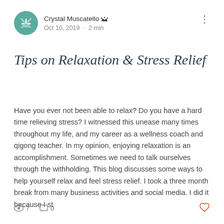Crystal Muscatello 🔱 Oct 10, 2019 · 2 min
Tips on Relaxation & Stress Relief
Have you ever not been able to relax? Do you have a hard time relieving stress? I witnessed this unease many times throughout my life, and my career as a wellness coach and qigong teacher. In my opinion, enjoying relaxation is an accomplishment. Sometimes we need to talk ourselves through the withholding. This blog discusses some ways to help yourself relax and feel stress relief. I took a three month break from many business activities and social media. I did it because I st
7 views  0 comments